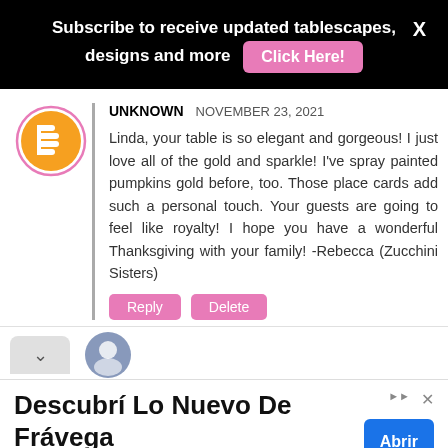Subscribe to receive updated tablescapes, designs and more  [Click Here!]  X
UNKNOWN  NOVEMBER 23, 2021

Linda, your table is so elegant and gorgeous! I just love all of the gold and sparkle! I've spray painted pumpkins gold before, too. Those place cards add such a personal touch. Your guests are going to feel like royalty! I hope you have a wonderful Thanksgiving with your family! -Rebecca (Zucchini Sisters)
Descubrí Lo Nuevo De Frávega
Frávega Es Como Tu Familia, Descubrí Lo Nuevo De Frávega Frávega  [Abrir]